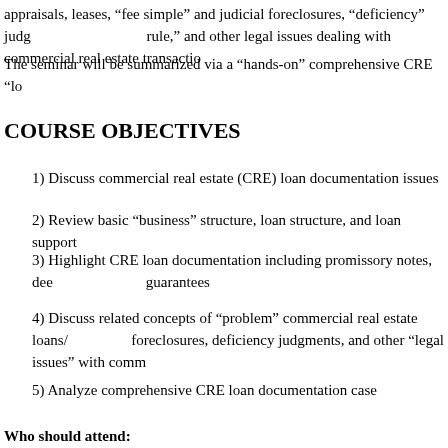appraisals, leases, “fee simple” and judicial foreclosures, “deficiency” judgments, “one action rule,” and other legal issues dealing with commercial real estate transactions.
The seminar will be summarized via a “hands-on” comprehensive CRE “loan documentation” case.
COURSE OBJECTIVES
1) Discuss commercial real estate (CRE) loan documentation issues
2) Review basic “business” structure, loan structure, and loan support
3) Highlight CRE loan documentation including promissory notes, deeds of trust, and guarantees
4) Discuss related concepts of “problem” commercial real estate loans/workouts, foreclosures, deficiency judgments, and other “legal issues” with commercial real estate
5) Analyze comprehensive CRE loan documentation case
Who should attend: